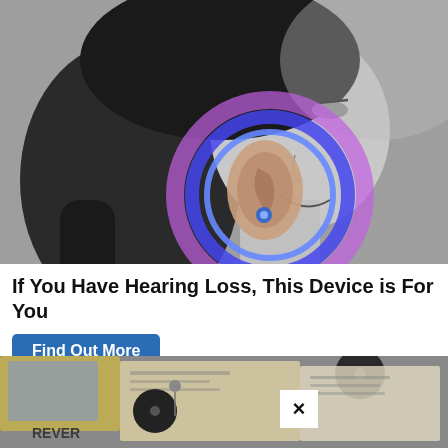[Figure (photo): Black and white photo of a smiling woman in profile with a colorful highlighted circle around her ear, showing a small hearing device. The circle glows with blue and pink/purple colors.]
If You Have Hearing Loss, This Device is For You
Find Out More
[Figure (photo): Photo of vintage books and papers with vinyl record labels, partially obscured by a close-up box with an X close button overlay.]